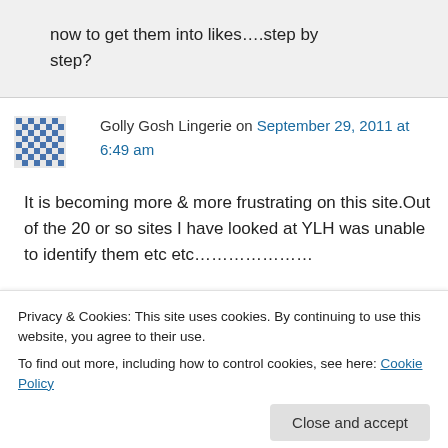now to get them into likes….step by step?
Golly Gosh Lingerie on September 29, 2011 at 6:49 am
It is becoming more & more frustrating on this site.Out of the 20 or so sites I have looked at YLH was unable to identify them etc etc…………………
Privacy & Cookies: This site uses cookies. By continuing to use this website, you agree to their use.
To find out more, including how to control cookies, see here: Cookie Policy